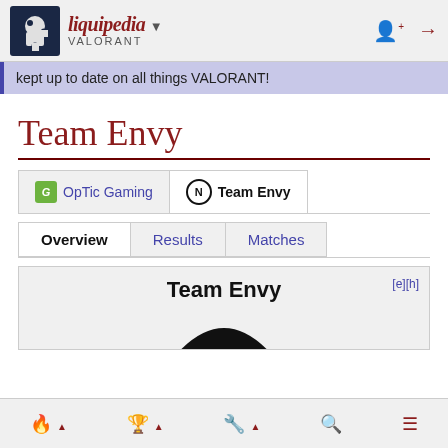liquipedia VALORANT
kept up to date on all things VALORANT!
Team Envy
OpTic Gaming | Team Envy
Overview | Results | Matches
Team Envy [e][h]